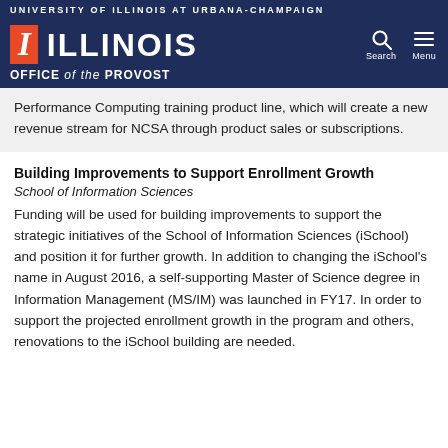UNIVERSITY OF ILLINOIS AT URBANA-CHAMPAIGN
[Figure (logo): University of Illinois 'I' logo with ILLINOIS wordmark and Office of the Provost text on dark navy background, with Search and Menu icons]
Performance Computing training product line, which will create a new revenue stream for NCSA through product sales or subscriptions.
Building Improvements to Support Enrollment Growth
School of Information Sciences
Funding will be used for building improvements to support the strategic initiatives of the School of Information Sciences (iSchool) and position it for further growth. In addition to changing the iSchool's name in August 2016, a self-supporting Master of Science degree in Information Management (MS/IM) was launched in FY17. In order to support the projected enrollment growth in the program and others, renovations to the iSchool building are needed.